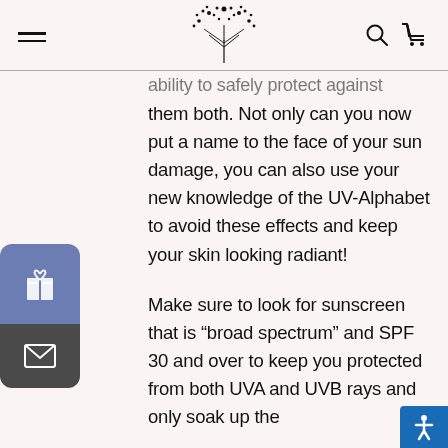[navigation bar with hamburger menu, floral logo, search and cart icons]
ability to safely protect against them both. Not only can you now put a name to the face of your sun damage, you can also use your new knowledge of the UV-Alphabet to avoid these effects and keep your skin looking radiant!
Make sure to look for sunscreen that is “broad spectrum” and SPF 30 and over to keep you protected from both UVA and UVB rays and only soak up the